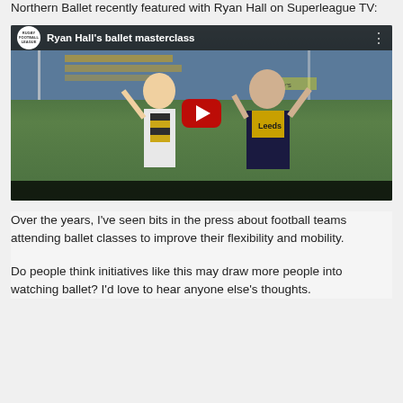Northern Ballet recently featured with Ryan Hall on Superleague TV:
[Figure (screenshot): YouTube video embed showing 'Ryan Hall's ballet masterclass' - a Rugby Football League video thumbnail showing a woman in black and yellow striped scarf and a man in a Leeds rugby shirt, both with arms raised, standing on a rugby pitch with stadium seating in the background. Large red YouTube play button in the center.]
Over the years, I've seen bits in the press about football teams attending ballet classes to improve their flexibility and mobility.
Do people think initiatives like this may draw more people into watching ballet? I'd love to hear anyone else's thoughts.